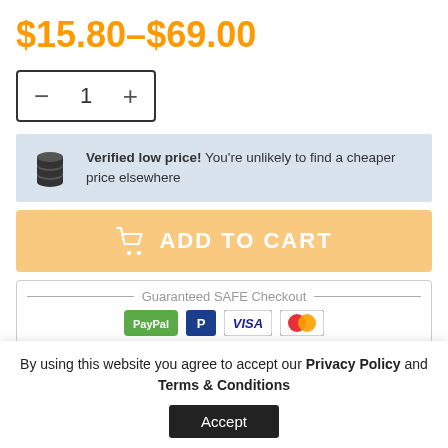$15.80–$69.00
[Figure (other): Quantity selector box with minus button, number 1, and plus button]
Verified low price! You're unlikely to find a cheaper price elsewhere
[Figure (other): ADD TO CART button with shopping cart icon]
Guaranteed SAFE Checkout
[Figure (other): Payment method icons: PayPal, Visa, Mastercard]
By using this website you agree to accept our Privacy Policy and Terms & Conditions
[Figure (other): Accept button for cookie/privacy notice]